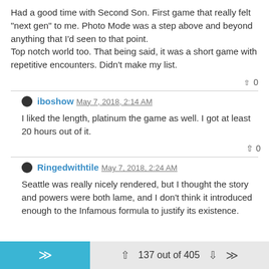Had a good time with Second Son. First game that really felt "next gen" to me. Photo Mode was a step above and beyond anything that I'd seen to that point.
Top notch world too. That being said, it was a short game with repetitive encounters. Didn't make my list.
▲ 0
iboshow May 7, 2018, 2:14 AM
I liked the length, platinum the game as well. I got at least 20 hours out of it.
▲ 0
Ringedwithtile May 7, 2018, 2:24 AM
Seattle was really nicely rendered, but I thought the story and powers were both lame, and I don't think it introduced enough to the Infamous formula to justify its existence.
137 out of 405